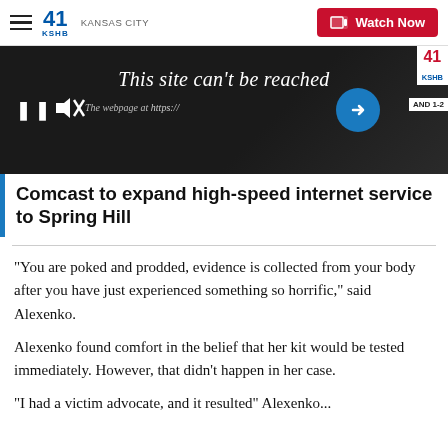41 KSHB KANSAS CITY — Watch Now
[Figure (screenshot): Video thumbnail showing browser error message 'This site can't be reached. The webpage at https://...' on dark background with pause, mute, and arrow controls]
Comcast to expand high-speed internet service to Spring Hill
“You are poked and prodded, evidence is collected from your body after you have just experienced something so horrific,” said Alexenko.
Alexenko found comfort in the belief that her kit would be tested immediately. However, that didn’t happen in her case.
“I had a victim advocate, and it resulted” Alexenko...